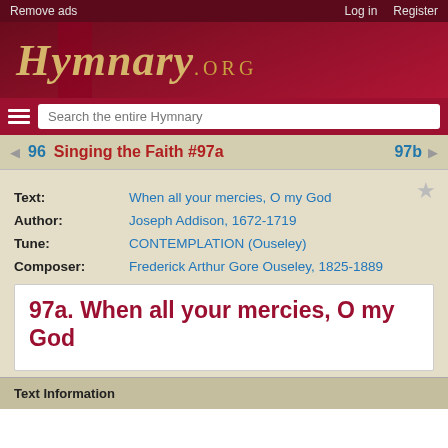Remove ads    Log in    Register
[Figure (logo): Hymnary.org website logo with cursive text on dark red background]
Search the entire Hymnary
96   Singing the Faith #97a   97b
Text: When all your mercies, O my God
Author: Joseph Addison, 1672-1719
Tune: CONTEMPLATION (Ouseley)
Composer: Frederick Arthur Gore Ouseley, 1825-1889
97a. When all your mercies, O my God
Text Information